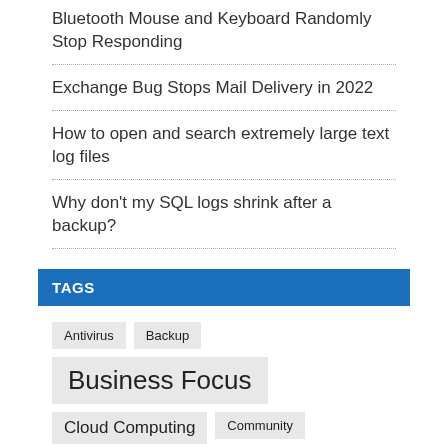Bluetooth Mouse and Keyboard Randomly Stop Responding
Exchange Bug Stops Mail Delivery in 2022
How to open and search extremely large text log files
Why don't my SQL logs shrink after a backup?
TAGS
Antivirus  Backup  Business Focus  Cloud Computing  Community  Conferences  Disaster Recovery  Exchange 2010  Exchange Server  Future Products  Hyper-V